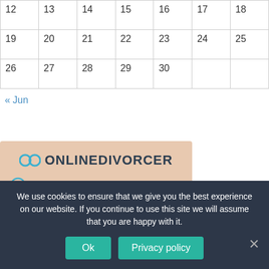| 12 | 13 | 14 | 15 | 16 | 17 | 18 |
| 19 | 20 | 21 | 22 | 23 | 24 | 25 |
| 26 | 27 | 28 | 29 | 30 |  |  |
« Jun
[Figure (infographic): OnlineDivorcer advertisement banner with logo and checklist: FULL DIVORCE PACKAGE, NO LAWYERS NEEDED, WORKS W & W/O CHILDREN]
We use cookies to ensure that we give you the best experience on our website. If you continue to use this site we will assume that you are happy with it.
Ok  Privacy policy